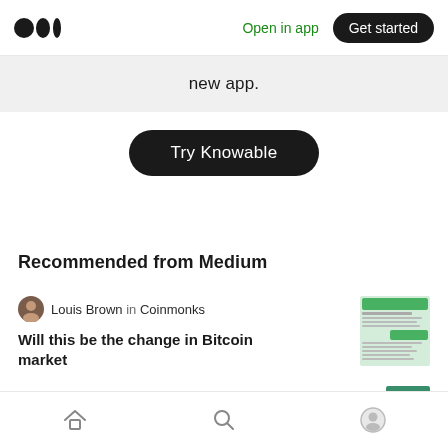Medium logo | Open in app | Get started
new app.
Try Knowable
Recommended from Medium
Louis Brown in Coinmonks
Will this be the change in Bitcoin market
[Figure (screenshot): Article thumbnail showing chat/messaging screenshot with green theme]
[Figure (photo): Partial article thumbnail, colorful green/teal image]
Home | Search | Profile navigation icons